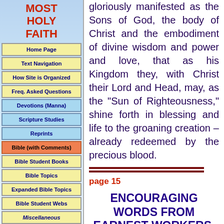MOST HOLY FAITH
Home Page
Text Navigation
How Site is Organized
Freq. Asked Questions
Devotions (Manna)
Scripture Studies
Reprints
Bible (with Comments)
Bible Student Books
Bible Topics
Expanded Bible Topics
Bible Student Webs
Miscellaneous
gloriously manifested as the Sons of God, the body of Christ and the embodiment of divine wisdom and power and love, that as his Kingdom they, with Christ their Lord and Head, may, as the "Sun of Righteousness," shine forth in blessing and life to the groaning creation – already redeemed by the precious blood.
page 15
ENCOURAGING WORDS FROM EARNEST WORKERS.